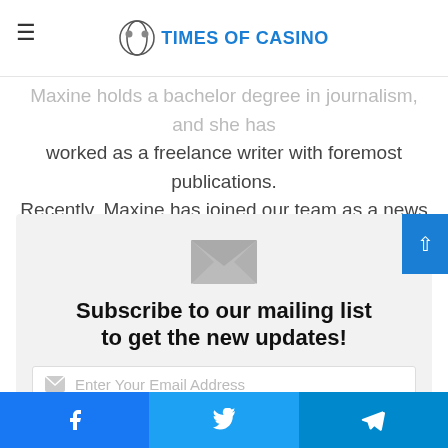Times of Casino
Maxine holds a bachelor degree in journalism, and she has worked as a freelance writer with foremost publications. Recently, Maxine has joined our team as a news editor. As she is passionate for casino and gambling industry, she conventionally contributes the latest news and reviews for
Subscribe to our mailing list to get the new updates!
Enter Your Email Address